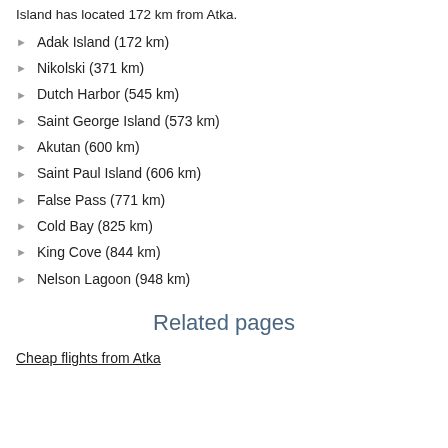Island has located 172 km from Atka.
Adak Island (172 km)
Nikolski (371 km)
Dutch Harbor (545 km)
Saint George Island (573 km)
Akutan (600 km)
Saint Paul Island (606 km)
False Pass (771 km)
Cold Bay (825 km)
King Cove (844 km)
Nelson Lagoon (948 km)
Related pages
Cheap flights from Atka